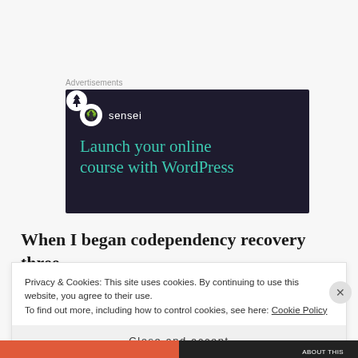Advertisements
[Figure (illustration): Sensei advertisement banner with dark background showing logo and text: Launch your online course with WordPress]
When I began codependency recovery three
Privacy & Cookies: This site uses cookies. By continuing to use this website, you agree to their use.
To find out more, including how to control cookies, see here: Cookie Policy
Close and accept